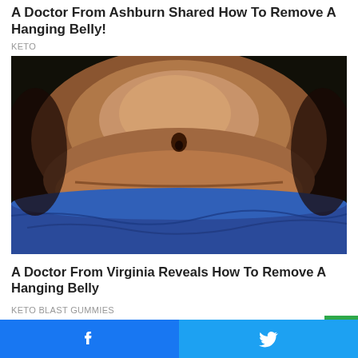A Doctor From Ashburn Shared How To Remove A Hanging Belly!
KETO
[Figure (photo): Close-up photo of a person's midsection showing belly area, wearing a blue medical/disposable drape at the bottom, on a dark background.]
A Doctor From Virginia Reveals How To Remove A Hanging Belly
KETO BLAST GUMMIES
[Figure (photo): Two partial images side by side at bottom: left shows a woman with dark hair, right shows a food dish with orange/brown coloring.]
Facebook share button | Twitter share button